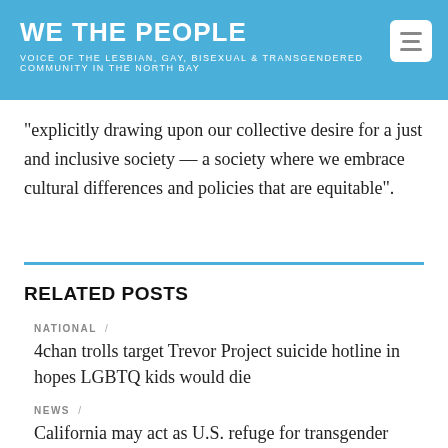WE THE PEOPLE
VOICE OF THE LESBIAN, GAY, BISEXUAL & TRANSGENDERED COMMUNITY IN THE NORTH BAY
“explicitly drawing upon our collective desire for a just and inclusive society — a society where we embrace cultural differences and policies that are equitable”.
RELATED POSTS
NATIONAL /
4chan trolls target Trevor Project suicide hotline in hopes LGBTQ kids would die
NEWS /
California may act as U.S. refuge for transgender